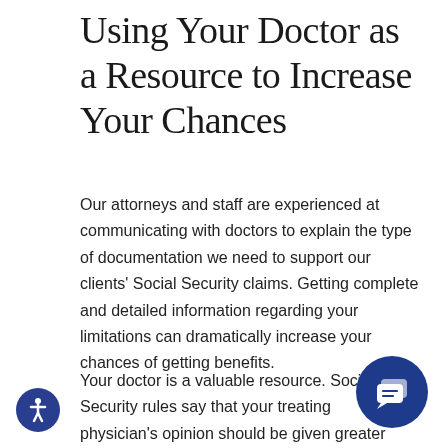Using Your Doctor as a Resource to Increase Your Chances
Our attorneys and staff are experienced at communicating with doctors to explain the type of documentation we need to support our clients' Social Security claims. Getting complete and detailed information regarding your limitations can dramatically increase your chances of getting benefits.
Your doctor is a valuable resource. Social Security rules say that your treating physician's opinion should be given greater